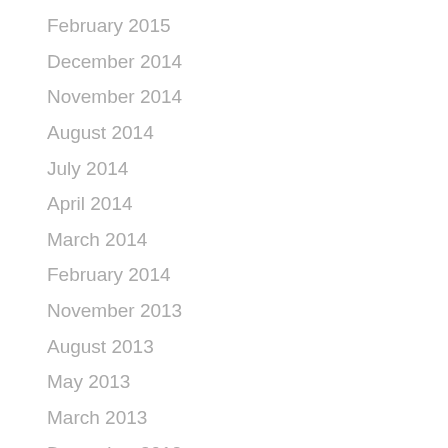February 2015
December 2014
November 2014
August 2014
July 2014
April 2014
March 2014
February 2014
November 2013
August 2013
May 2013
March 2013
December 2012